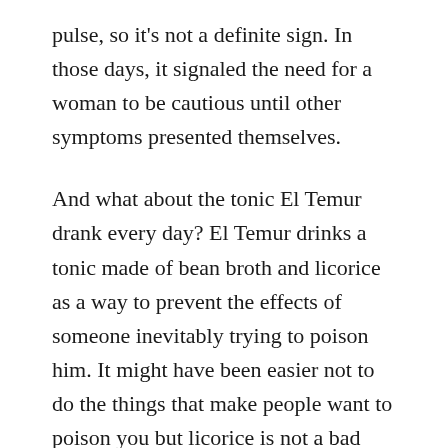pulse, so it's not a definite sign. In those days, it signaled the need for a woman to be cautious until other symptoms presented themselves.
And what about the tonic El Temur drank every day? El Temur drinks a tonic made of bean broth and licorice as a way to prevent the effects of someone inevitably trying to poison him. It might have been easier not to do the things that make people want to poison you but licorice is not a bad idea either. Recent studies have shown that licorice water can prevent the negative